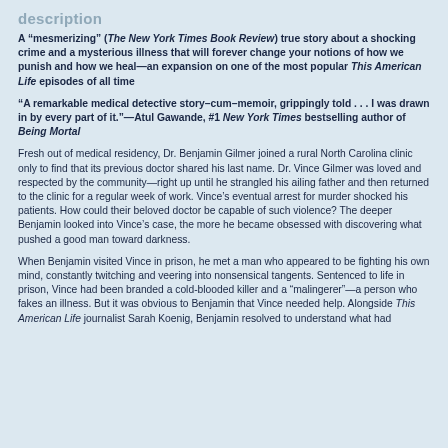description
A “mesmerizing” (The New York Times Book Review) true story about a shocking crime and a mysterious illness that will forever change your notions of how we punish and how we heal—an expansion on one of the most popular This American Life episodes of all time
“A remarkable medical detective story–cum–memoir, grippingly told . . . I was drawn in by every part of it.”—Atul Gawande, #1 New York Times bestselling author of Being Mortal
Fresh out of medical residency, Dr. Benjamin Gilmer joined a rural North Carolina clinic only to find that its previous doctor shared his last name. Dr. Vince Gilmer was loved and respected by the community—right up until he strangled his ailing father and then returned to the clinic for a regular week of work. Vince’s eventual arrest for murder shocked his patients. How could their beloved doctor be capable of such violence? The deeper Benjamin looked into Vince’s case, the more he became obsessed with discovering what pushed a good man toward darkness.
When Benjamin visited Vince in prison, he met a man who appeared to be fighting his own mind, constantly twitching and veering into nonsensical tangents. Sentenced to life in prison, Vince had been branded a cold-blooded killer and a “malingerer”—a person who fakes an illness. But it was obvious to Benjamin that Vince needed help. Alongside This American Life journalist Sarah Koenig, Benjamin resolved to understand what had